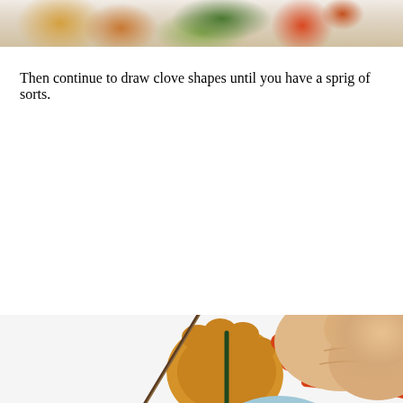[Figure (photo): Top portion of a colorful floral painting in progress, showing painted flowers with orange, green/dark green, and brown colors on a light background.]
Then continue to draw clove shapes until you have a sprig of sorts.
[Figure (photo): Close-up photo of a hand holding a fine paintbrush, adding small brown clove/sprig shapes to a colorful floral painting. The painting features a large light blue flower with dark center and blue petal lines, a dark green leaf with yellow veins, an orange-yellow flower, red-orange brushstrokes, and small brown clove bud shapes being added with the brush.]